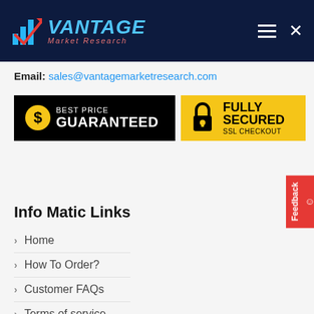Vantage Market Research
Email: sales@vantagemarketresearch.com
[Figure (infographic): Best Price Guaranteed badge (black background, yellow dollar coin icon) and Fully Secured SSL Checkout badge (yellow background, black padlock icon)]
Info Matic Links
Home
How To Order?
Customer FAQs
Terms of service
Privacy policy